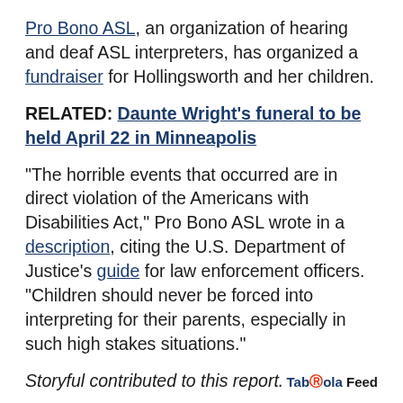Pro Bono ASL, an organization of hearing and deaf ASL interpreters, has organized a fundraiser for Hollingsworth and her children.
RELATED: Daunte Wright's funeral to be held April 22 in Minneapolis
"The horrible events that occurred are in direct violation of the Americans with Disabilities Act," Pro Bono ASL wrote in a description, citing the U.S. Department of Justice's guide for law enforcement officers. "Children should never be forced into interpreting for their parents, especially in such high stakes situations."
Storyful contributed to this report.
Taboola Feed